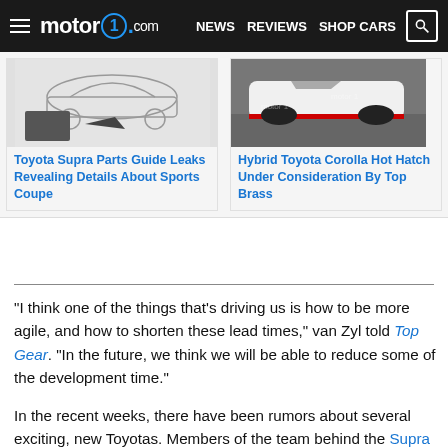motor1.com  NEWS  REVIEWS  SHOP CARS
[Figure (photo): Sketch/drawing of a sports coupe car with mirror detail]
Toyota Supra Parts Guide Leaks Revealing Details About Sports Coupe
[Figure (photo): White Toyota Corolla hot hatch with red accents]
Hybrid Toyota Corolla Hot Hatch Under Consideration By Top Brass
“I think one of the things that’s driving us is how to be more agile, and how to shorten these lead times,” van Zyl told Top Gear. “In the future, we think we will be able to reduce some of the development time.”
In the recent weeks, there have been rumors about several exciting, new Toyotas. Members of the team behind the Supra would like to revive the Celica or MR2 next. In addition, van Zyl discussed the possibility